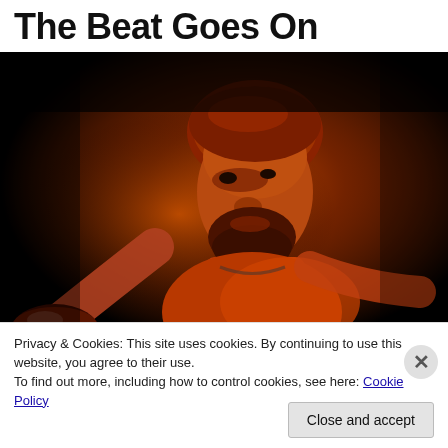The Beat Goes On
[Figure (photo): A musician with a beard and head wrap playing drums on a dark stage, lit with warm orange/red light, looking upward with arms extended.]
Privacy & Cookies: This site uses cookies. By continuing to use this website, you agree to their use.
To find out more, including how to control cookies, see here: Cookie Policy
Close and accept